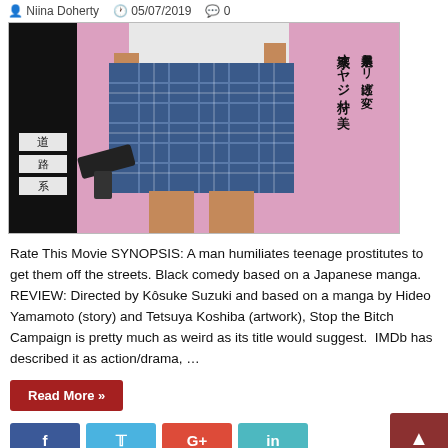Niina Doherty  05/07/2019  0
[Figure (photo): Movie poster for a Japanese film showing a schoolgirl in a plaid skirt holding a gun, with Japanese kanji text on the right side and bold black text on the left side, against a pink background.]
Rate This Movie SYNOPSIS: A man humiliates teenage prostitutes to get them off the streets. Black comedy based on a Japanese manga. REVIEW: Directed by Kôsuke Suzuki and based on a manga by Hideo Yamamoto (story) and Tetsuya Koshiba (artwork), Stop the Bitch Campaign is pretty much as weird as its title would suggest.  IMDb has described it as action/drama, …
Read More »
[Figure (other): Social sharing buttons: Facebook (blue), Twitter (light blue), Google+ (red), LinkedIn (teal), and a scroll-to-top button (dark red).]